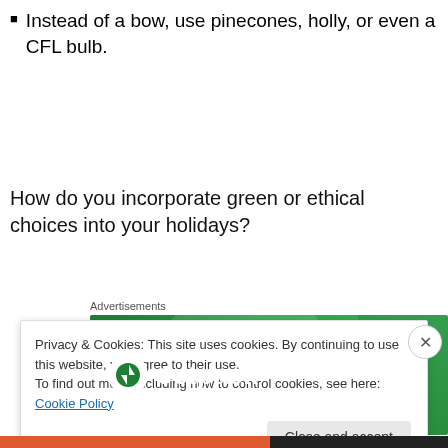Instead of a bow, use pinecones, holly, or even a CFL bulb.
How do you incorporate green or ethical choices into your holidays?
[Figure (screenshot): Jetpack advertisement banner with green background and Jetpack logo]
Privacy & Cookies: This site uses cookies. By continuing to use this website, you agree to their use.
To find out more, including how to control cookies, see here: Cookie Policy